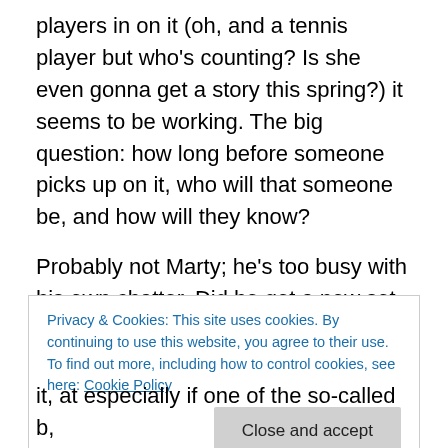players in on it (oh, and a tennis player but who's counting? Is she even gonna get a story this spring?) it seems to be working. The big question: how long before someone picks up on it, who will that someone be, and how will they know?
Probably not Marty; he's too busy with his own chatter. Did he get a new set of choppers after basketball season, or has he been sucking on the sugar cubes he's been muddling with bitters to make his sippy cup Old Fashioneds?
Privacy & Cookies: This site uses cookies. By continuing to use this website, you agree to their use.
To find out more, including how to control cookies, see here: Cookie Policy
Close and accept
it, at especially if one of the so-called b, h, and, , , , while